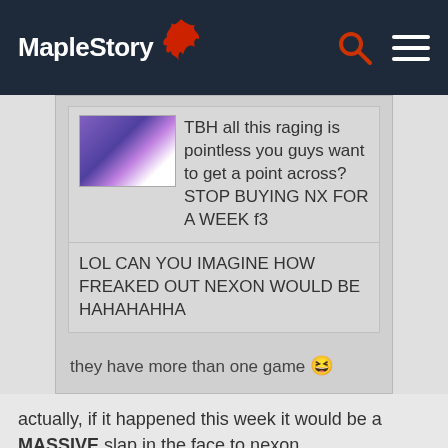MapleStory
TBH all this raging is pointless you guys want to get a point across? STOP BUYING NX FOR A WEEK f3
LOL CAN YOU IMAGINE HOW FREAKED OUT NEXON WOULD BE HAHAHAHHA
they have more than one game 😆
actually, if it happened this week it would be a MASSIVE slap in the face to nexon

Marvel is out this week
Member
bladename